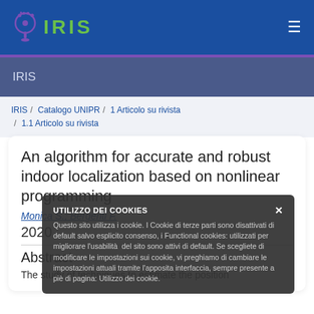IRIS
IRIS
IRIS / Catalogo UNIPR / 1 Articolo su rivista / 1.1 Articolo su rivista
An algorithm for accurate and robust indoor localization based on nonlinear programming
Monica S.; Bergenti F.
2020
Abstract
The study of techniques to estimate the position
UTILIZZO DEI COOKIES
Questo sito utilizza i cookie. I Cookie di terze parti sono disattivati di default salvo esplicito consenso, i Functional cookies: utilizzati per migliorare l'usabilità del sito sono attivi di default. Se scegliete di modificare le impostazioni sui cookie, vi preghiamo di cambiare le impostazioni attuali tramite l'apposita interfaccia, sempre presente a piè di pagina: Utilizzo dei cookie.